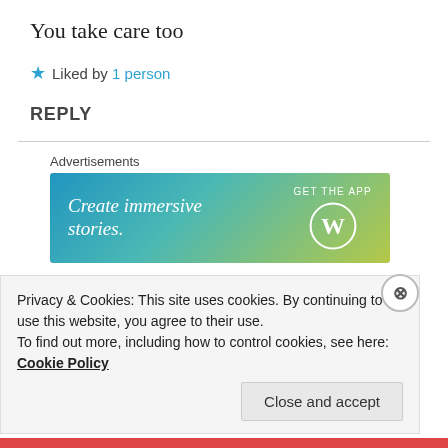You take care too
★ Liked by 1 person
REPLY
[Figure (screenshot): WordPress advertisement banner: 'Create immersive stories. GET THE APP' with WordPress logo on gradient blue-green-yellow background]
😎 SONI COOL
January 29, 2021 at 2:02 pm
Privacy & Cookies: This site uses cookies. By continuing to use this website, you agree to their use.
To find out more, including how to control cookies, see here: Cookie Policy
Close and accept